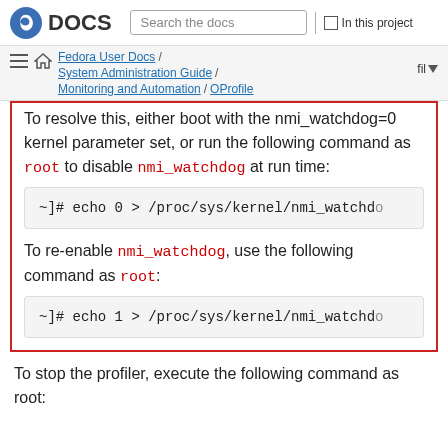DOCS | Search the docs | In this project
Fedora User Docs / System Administration Guide / Monitoring and Automation / OProfile | fil
To resolve this, either boot with the nmi_watchdog=0 kernel parameter set, or run the following command as root to disable nmi_watchdog at run time:
~]# echo 0 > /proc/sys/kernel/nmi_watchdog
To re-enable nmi_watchdog, use the following command as root:
~]# echo 1 > /proc/sys/kernel/nmi_watchdog
To stop the profiler, execute the following command as root: